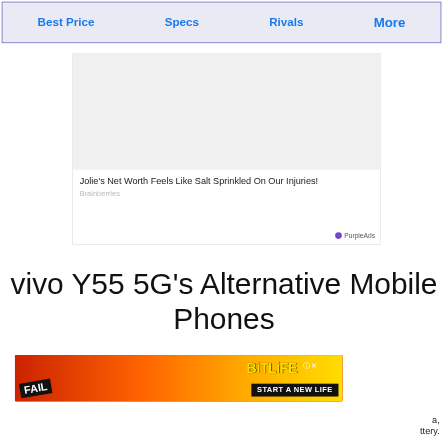Best Price   Specs   Rivals   More
[Figure (screenshot): Advertisement block with image area and text: Jolie's Net Worth Feels Like Salt Sprinkled On Our Injuries! Source: Brainberries. PurpleAds label at bottom right.]
vivo Y55 5G's Alternative Mobile Phones
[Figure (screenshot): BitLife banner advertisement - FAIL text with character covering face, flames, sperm cell logo, BitLife START A NEW LIFE text on black background]
a, ttery.